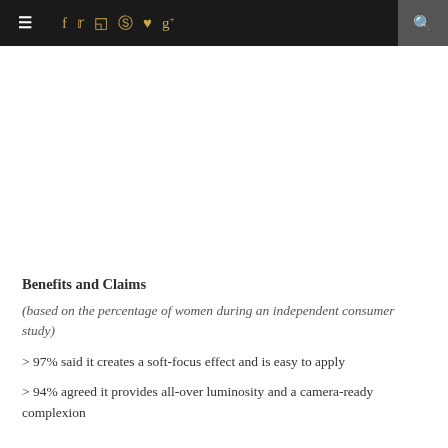≡  f  t  ☷  ℗  ♥  g+  🔍
Benefits and Claims
(based on the percentage of women during an independent consumer study)
> 97% said it creates a soft-focus effect and is easy to apply
> 94% agreed it provides all-over luminosity and a camera-ready complexion